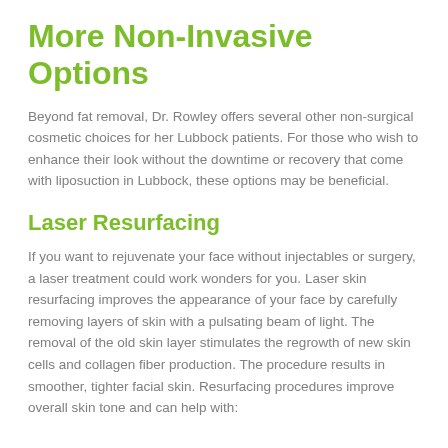More Non-Invasive Options
Beyond fat removal, Dr. Rowley offers several other non-surgical cosmetic choices for her Lubbock patients. For those who wish to enhance their look without the downtime or recovery that come with liposuction in Lubbock, these options may be beneficial.
Laser Resurfacing
If you want to rejuvenate your face without injectables or surgery, a laser treatment could work wonders for you. Laser skin resurfacing improves the appearance of your face by carefully removing layers of skin with a pulsating beam of light. The removal of the old skin layer stimulates the regrowth of new skin cells and collagen fiber production. The procedure results in smoother, tighter facial skin. Resurfacing procedures improve overall skin tone and can help with: